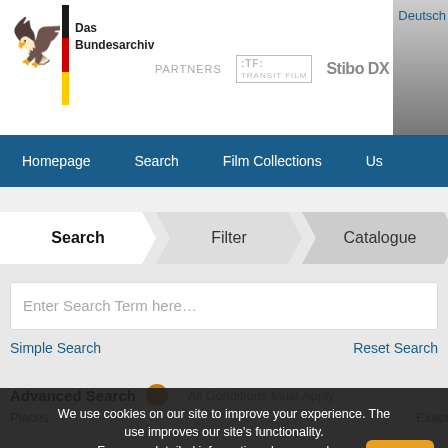[Figure (logo): Das Bundesarchiv eagle logo with German flag stripe and text]
Deutsch
[Figure (logo): Partners logos: TRANSIT FILM and Stibo DX]
Homepage   Search   Film Collections   Us...
Search   Filter   Catalogue
Enter Search Term here…
Simple Search   Reset Search
Advanced Search
All Conditions Must Apply
Places   Exactly
We use cookies on our site to improve your experience. The use improves our site's functionality. For more detailed information please read our Notice.